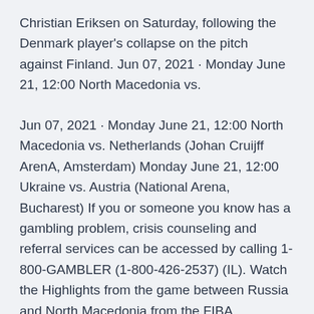Christian Eriksen on Saturday, following the Denmark player's collapse on the pitch against Finland. Jun 07, 2021 · Monday June 21, 12:00 North Macedonia vs.
Jun 07, 2021 · Monday June 21, 12:00 North Macedonia vs. Netherlands (Johan Cruijff ArenA, Amsterdam) Monday June 21, 12:00 Ukraine vs. Austria (National Arena, Bucharest) If you or someone you know has a gambling problem, crisis counseling and referral services can be accessed by calling 1-800-GAMBLER (1-800-426-2537) (IL). Watch the Highlights from the game between Russia and North Macedonia from the FIBA EuroBasket 2022 - Qualifiers.
FIFA Club World Cup and more. This is a channel fueled by passion and